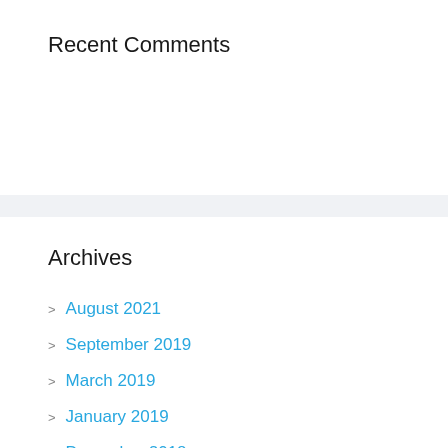Recent Comments
Archives
August 2021
September 2019
March 2019
January 2019
December 2018
November 2018
October 2018